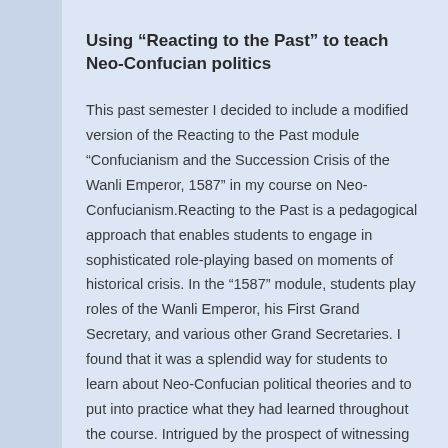Using “Reacting to the Past” to teach Neo-Confucian politics
This past semester I decided to include a modified version of the Reacting to the Past module “Confucianism and the Succession Crisis of the Wanli Emperor, 1587” in my course on Neo-Confucianism.Reacting to the Past is a pedagogical approach that enables students to engage in sophisticated role-playing based on moments of historical crisis. In the “1587” module, students play roles of the Wanli Emperor, his First Grand Secretary, and various other Grand Secretaries. I found that it was a splendid way for students to learn about Neo-Confucian political theories and to put into practice what they had learned throughout the course. Intrigued by the prospect of witnessing impassioned student debates over the relevance of Yao’s decision to abdicate to Shun (instead